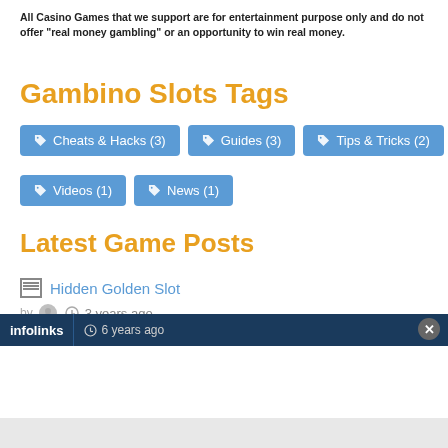All Casino Games that we support are for entertainment purpose only and do not offer "real money gambling" or an opportunity to win real money.
Gambino Slots Tags
Cheats & Hacks (3)
Guides (3)
Tips & Tricks (2)
Videos (1)
News (1)
Latest Game Posts
Hidden Golden Slot
by  3 years ago
Gambino Slots Auto Collect Free Coins
6 years ago